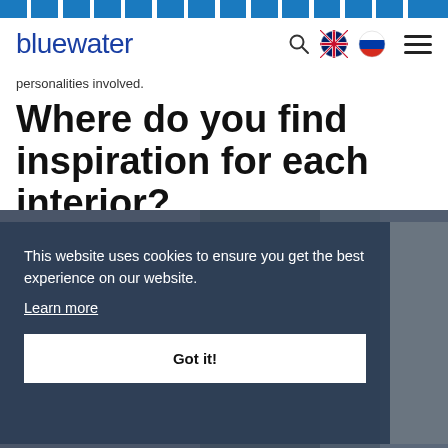[Figure (screenshot): Decorative top bar with repeating blue rectangular blocks]
bluewater
personalities involved.
Where do you find inspiration for each interior?
[Figure (photo): Background photo of a woman with dark hair, partially obscured by cookie consent overlay]
This website uses cookies to ensure you get the best experience on our website. Learn more Got it!